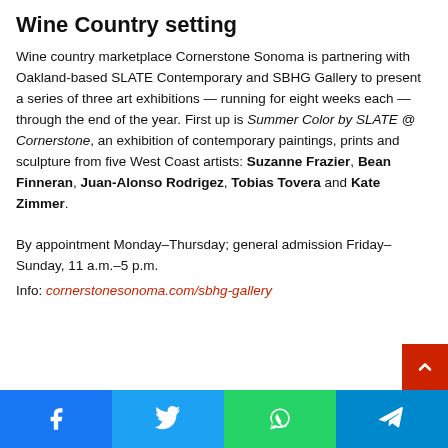Wine Country setting
Wine country marketplace Cornerstone Sonoma is partnering with Oakland-based SLATE Contemporary and SBHG Gallery to present a series of three art exhibitions — running for eight weeks each — through the end of the year. First up is Summer Color by SLATE @ Cornerstone, an exhibition of contemporary paintings, prints and sculpture from five West Coast artists: Suzanne Frazier, Bean Finneran, Juan-Alonso Rodrigez, Tobias Tovera and Kate Zimmer.
By appointment Monday–Thursday; general admission Friday–Sunday, 11 a.m.–5 p.m.
Info: cornerstonesonoma.com/sbhg-gallery